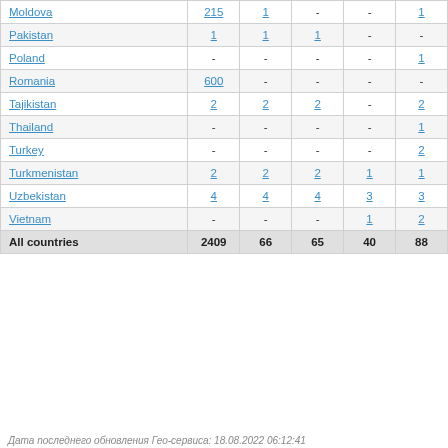| Country | Col1 | Col2 | Col3 | Col4 | Col5 |
| --- | --- | --- | --- | --- | --- |
| Moldova | 215 | 1 | - | - | 1 |
| Pakistan | 1 | 1 | 1 | - | - |
| Poland | - | - | - | - | 1 |
| Romania | 600 | - | - | - | - |
| Tajikistan | 2 | 2 | 2 | - | 2 |
| Thailand | - | - | - | - | 1 |
| Turkey | - | - | - | - | 2 |
| Turkmenistan | 2 | 2 | 2 | 1 | 1 |
| Uzbekistan | 4 | 4 | 4 | 3 | 3 |
| Vietnam | - | - | - | 1 | 2 |
| All countries | 2409 | 66 | 65 | 40 | 88 |
Дата последнего обновления Гео-сервиса: 18.08.2022 06:12:41